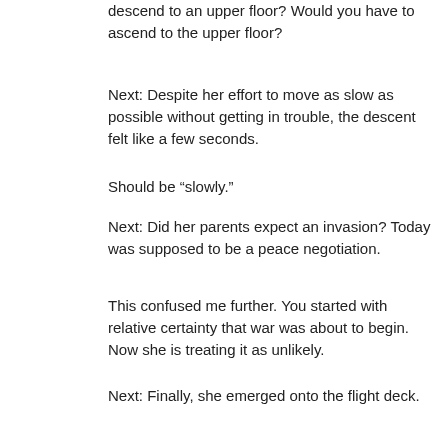descend to an upper floor? Would you have to ascend to the upper floor?
Next: Despite her effort to move as slow as possible without getting in trouble, the descent felt like a few seconds.
Should be “slowly.”
Next: Did her parents expect an invasion? Today was supposed to be a peace negotiation.
This confused me further. You started with relative certainty that war was about to begin. Now she is treating it as unlikely.
Next: Finally, she emerged onto the flight deck.
A flight deck in the upper floor of a castle? I am not picturing this.This threw me for a loop.
Next: Her eyes widened and she gasped. It was completely empty.
Comma needed after widened. Also, you show her reaction (gasping) before the reason for the reaction (the empty room). That order should be reversed.